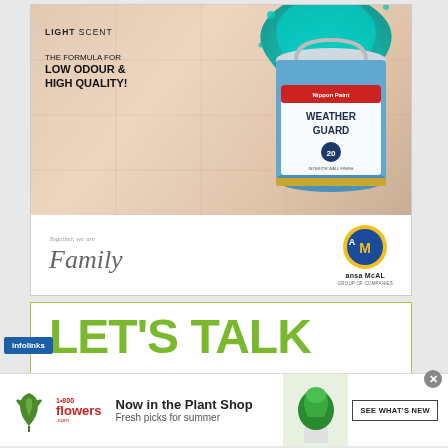[Figure (illustration): Weather Guard paint advertisement showing a paint bucket with teal paint splash, text 'LIGHT SCENT', 'THE FORMULA FOR LOW ODOUR & HIGH QUALITY!', with Ansa McAL logo and 'Together we are Family' tagline]
[Figure (illustration): Green text advertisement reading 'LET'S TALK' with olive/lime green color, bordered box]
[Figure (illustration): Infolinks badge overlay in blue]
[Figure (illustration): 1-800-flowers.com banner ad: 'Now in the Plant Shop - Fresh picks for summer' with plant image and 'SEE WHAT'S NEW' button, with close X button]